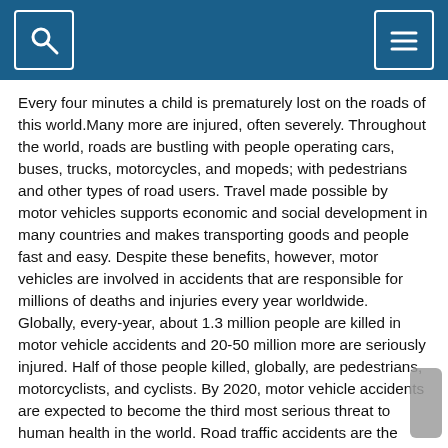[search icon] [menu icon]
Every four minutes a child is prematurely lost on the roads of this world.Many more are injured, often severely. Throughout the world, roads are bustling with people operating cars, buses, trucks, motorcycles, and mopeds; with pedestrians and other types of road users. Travel made possible by motor vehicles supports economic and social development in many countries and makes transporting goods and people fast and easy. Despite these benefits, however, motor vehicles are involved in accidents that are responsible for millions of deaths and injuries every year worldwide. Globally, every-year, about 1.3 million people are killed in motor vehicle accidents and 20-50 million more are seriously injured. Half of those people killed, globally, are pedestrians, motorcyclists, and cyclists. By 2020, motor vehicle accidents are expected to become the third most serious threat to human health in the world. Road traffic accidents are the world’s leading cause for individuals between the ages of 15-29 years, and every four minutes a child is prematurely lost on the roads of this world. Many more are injured often severely. Bearing in mind that globally there are 75 countries that drive on the same side of the road as the United Kingdom I have developed a product that can be available to children in all